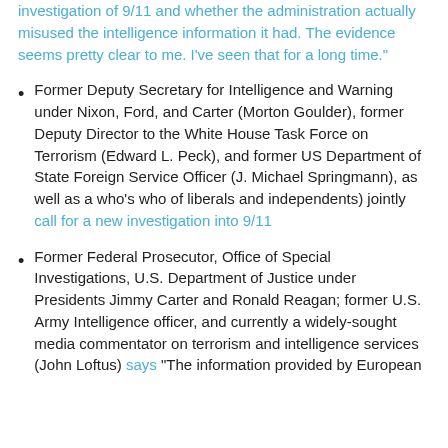investigation of 9/11 and whether the administration actually misused the intelligence information it had. The evidence seems pretty clear to me. I've seen that for a long time."
Former Deputy Secretary for Intelligence and Warning under Nixon, Ford, and Carter (Morton Goulder), former Deputy Director to the White House Task Force on Terrorism (Edward L. Peck), and former US Department of State Foreign Service Officer (J. Michael Springmann), as well as a who's who of liberals and independents) jointly call for a new investigation into 9/11
Former Federal Prosecutor, Office of Special Investigations, U.S. Department of Justice under Presidents Jimmy Carter and Ronald Reagan; former U.S. Army Intelligence officer, and currently a widely-sought media commentator on terrorism and intelligence services (John Loftus) says "The information provided by European